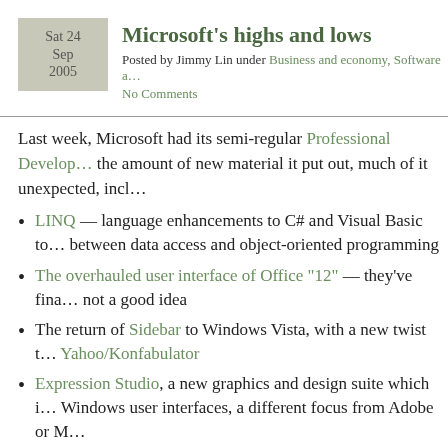Microsoft's highs and lows
Posted by Jimmy Lin under Business and economy, Software a…
No Comments
Last week, Microsoft had its semi-regular Professional Develop… the amount of new material it put out, much of it unexpected, incl…
LINQ — language enhancements to C# and Visual Basic to… between data access and object-oriented programming
The overhauled user interface of Office "12" — they've fina… not a good idea
The return of Sidebar to Windows Vista, with a new twist t… Yahoo/Konfabulator
Expression Studio, a new graphics and design suite which i… Windows user interfaces, a different focus from Adobe or M…
Atlas — Microsoft's cross-platform answer to supporting…
A subset of Windows Presentation Foundation that will run… platforms